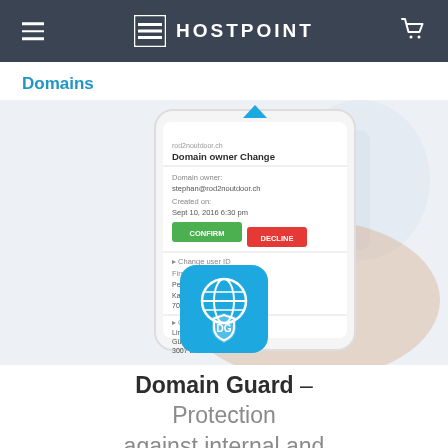HOSTPOINT
Domains
[Figure (screenshot): A smartphone held in a hand displaying a 'Domain owner Change' confirmation screen with CONFIRM and DECLINE buttons, alongside a Domain Guard app icon (blue shield with DG initials and globe graphic).]
Domain Guard – Protection against internal and external risks